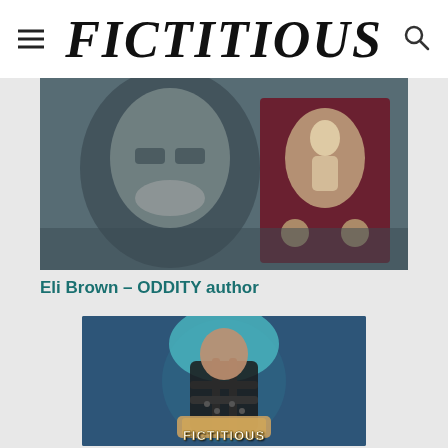FICTITIOUS
[Figure (photo): Photo of Eli Brown, a middle-aged man with glasses and grey beard, sitting in front of a book cover with illustrated figures on a dark red background]
Eli Brown – ODDITY author
[Figure (logo): Circular Fictitious podcast logo showing a person in leather harness holding an open book, with teal background and 'FICTITIOUS' text in white 3D letters at the bottom]